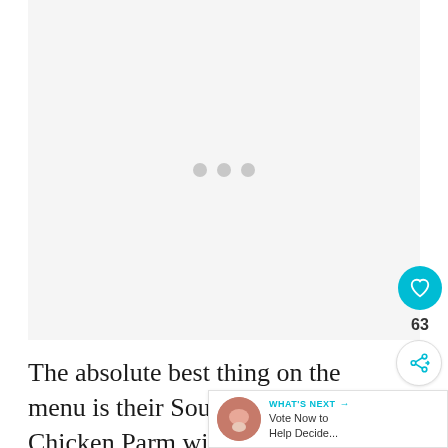[Figure (other): Large image placeholder area with a light grey background and three grey loading dots in the center, indicating an image that has not yet loaded.]
The absolute best thing on the menu is their Southern Fried Chicken Parm with creamy collards and fusilli. This would be paired